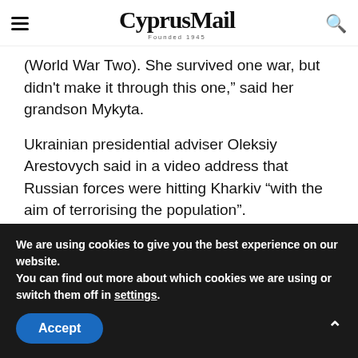CyprusMail — Founded 1945
(World War Two). She survived one war, but didn't make it through this one," said her grandson Mykyta.
Ukrainian presidential adviser Oleksiy Arestovych said in a video address that Russian forces were hitting Kharkiv "with the aim of terrorising the population".
"The idea is to create one big problem to
We are using cookies to give you the best experience on our website.
You can find out more about which cookies we are using or switch them off in settings.